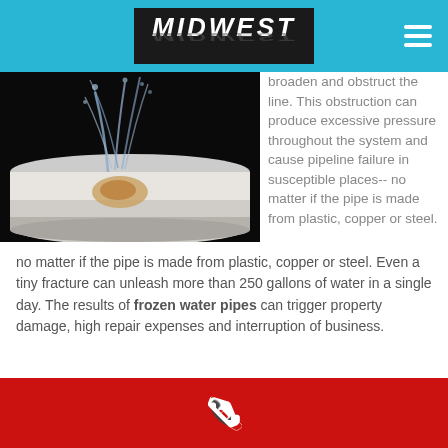MIDWEST
[Figure (photo): Close-up photo of a frozen/burst white pipe with water spraying out from a crack, against a dark black background. There is discoloration/corrosion visible at the crack point.]
broaden and obstruct the line. This obstruction can produce excessive pressure throughout the system and cause pipeline failure in susceptible places-- no matter if the pipe is made from plastic, copper or steel. Even a tiny fracture can unleash more than 250 gallons of water in a single day. The results of frozen water pipes can trigger property damage, high repair expenses and interruption of business.
[Figure (illustration): White phone handset icon on red background at the bottom of the page]